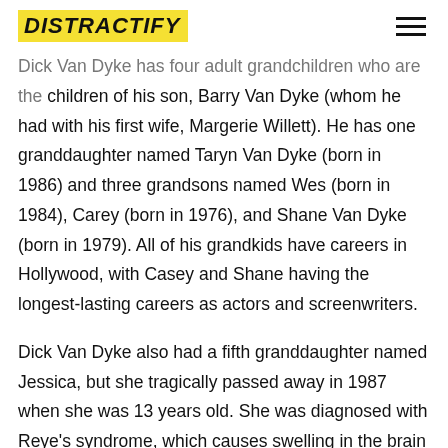DISTRACTIFY
Dick Van Dyke has four adult grandchildren who are the children of his son, Barry Van Dyke (whom he had with his first wife, Margerie Willett). He has one granddaughter named Taryn Van Dyke (born in 1986) and three grandsons named Wes (born in 1984), Carey (born in 1976), and Shane Van Dyke (born in 1979). All of his grandkids have careers in Hollywood, with Casey and Shane having the longest-lasting careers as actors and screenwriters.
Dick Van Dyke also had a fifth granddaughter named Jessica, but she tragically passed away in 1987 when she was 13 years old. She was diagnosed with Reye's syndrome, which causes swelling in the brain and lungs.